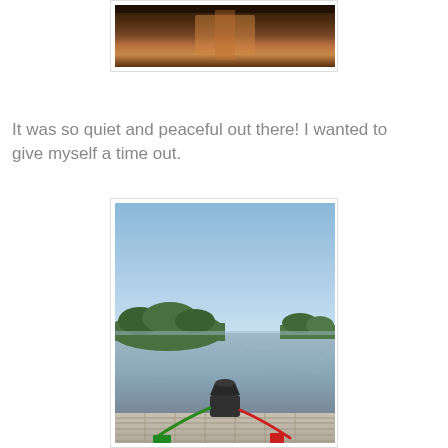[Figure (photo): Partial photo at top of page showing what appears to be dark wooden furniture or railing with warm orange/brown tones]
It was so quiet and peaceful out there! I wanted to give myself a time out.
[Figure (photo): Photo of a peaceful lake or river scene viewed from a wooden dock. Clear blue sky takes up upper half, with tree-covered landmass visible on the left horizon and a smaller landmass on the right. Calm grey-blue water reflects the surroundings. In the foreground, a dock with weathered wooden planks is visible, with a black bollard/post and colorful rope (red and green) tied to it.]